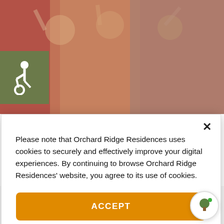[Figure (photo): Photo of elderly people with arms raised in a social gathering or activity at a care residence, warm indoor setting with paintings on wall]
[Figure (other): Accessibility wheelchair icon on olive green square background]
Please note that Orchard Ridge Residences uses cookies to securely and effectively improve your digital experiences. By continuing to browse Orchard Ridge Residences' website, you agree to its use of cookies.
ACCEPT
Orchard Ridge Residences provides personal care and memory care to seniors in the Dalton community. Our residents get to lead fulfilling, independent lives to the dedication of our associates who operate under our eight dimensions of wellness. Acknowledging these